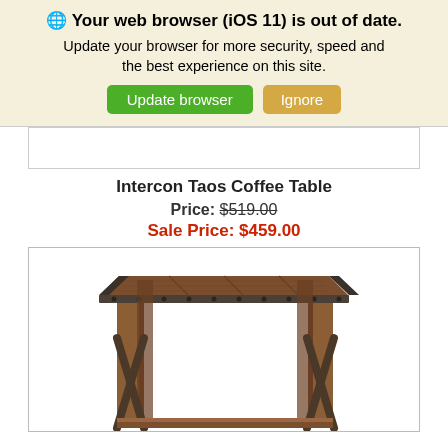🌐 Your web browser (iOS 11) is out of date. Update your browser for more security, speed and the best experience on this site.
Update browser | Ignore
Intercon Taos Coffee Table
Price: $519.00
Sale Price: $459.00
[Figure (photo): Wooden coffee table with metal X-cross supports and metal corner brackets on the tabletop, shown in dark brown wood finish]